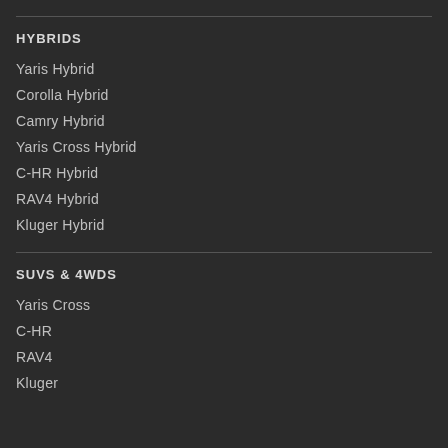HYBRIDS
Yaris Hybrid
Corolla Hybrid
Camry Hybrid
Yaris Cross Hybrid
C-HR Hybrid
RAV4 Hybrid
Kluger Hybrid
SUVS & 4WDS
Yaris Cross
C-HR
RAV4
Kluger